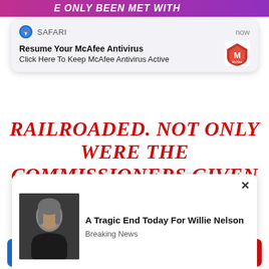[Figure (screenshot): Screenshot of a mobile browser page showing a Safari notification popup for McAfee Antivirus, large red italic bold text reading 'RAILROADED. NOT ONLY WERE THE COMMISSIONERS GIVEN EXTREMELY LIMITED FUNDS TO CONDUCT THEIR INVESTIGATION, BUT THEY WERE ALSO MET WITH DEAD ENDS IN ALMOST EVERY DIRECTION.', and a bottom ad popup for 'A Tragic End Today For Willie Nelson' with Breaking News label.]
Resume Your McAfee Antivirus
Click Here To Keep McAfee Antivirus Active
RAILROADED. NOT ONLY WERE THE COMMISSIONERS GIVEN EXTREMELY LIMITED FUNDS TO CONDUCT THEIR INVESTIGATION, BUT THEY WERE ALSO MET WITH DEAD ENDS IN ALMOST EVERY DIRECTION.
A Tragic End Today For Willie Nelson
Breaking News